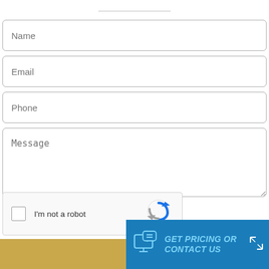[Figure (screenshot): Web contact form with fields: Name, Email, Phone, Message, reCAPTCHA checkbox, and a GET PRICING OR CONTACT US banner at bottom]
Name
Email
Phone
Message
I'm not a robot
reCAPTCHA
GET PRICING OR CONTACT US